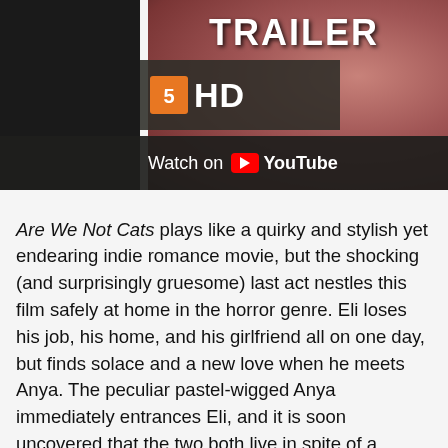[Figure (screenshot): YouTube video thumbnail/embed for a movie trailer labeled 'TRAILER HD' with a 'Watch on YouTube' button overlay. Shows a woman's face in the background.]
Are We Not Cats plays like a quirky and stylish yet endearing indie romance movie, but the shocking (and surprisingly gruesome) last act nestles this film safely at home in the horror genre. Eli loses his job, his home, and his girlfriend all on one day, but finds solace and a new love when he meets Anya. The peculiar pastel-wigged Anya immediately entrances Eli, and it is soon uncovered that the two both live in spite of a psychiatric disorder called trichophagia, or a compulsion to eat their own hair. Love is bizarre, unpredictable, and sometimes incredibly disgusting. Attacking the senses from every angle and leaving the audience to sit in their own discomfort, Are We Not Cats leans heavily into the arduous. Surrounded by